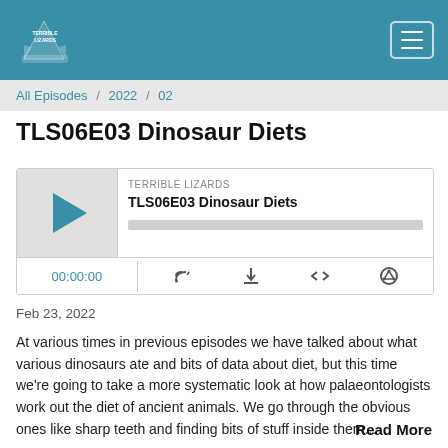Terrible Lizards — navigation header with logo and hamburger menu
All Episodes / 2022 / 02
TLS06E03 Dinosaur Diets
[Figure (screenshot): Podcast audio player widget showing episode 'TLS06E03 Dinosaur Diets' by Terrible Lizards, with play button, progress bar, time display 00:00:00, and media control icons]
Feb 23, 2022
At various times in previous episodes we have talked about what various dinosaurs ate and bits of data about diet, but this time we're going to take a more systematic look at how palaeontologists work out the diet of ancient animals. We go through the obvious ones like sharp teeth and finding bits of stuff inside them...
Read More